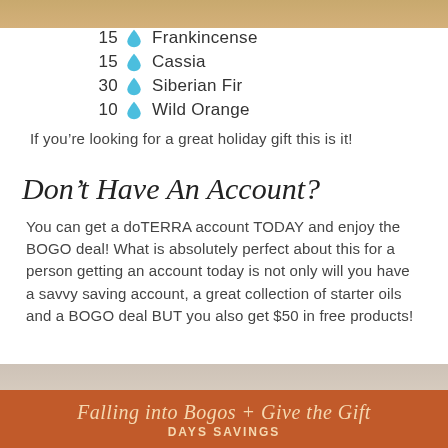[Figure (photo): Top strip image, partial photo of holiday/seasonal scene]
15 drops Frankincense
15 drops Cassia
30 drops Siberian Fir
10 drops Wild Orange
If you’re looking for a great holiday gift this is it!
Don’t Have An Account?
You can get a doTERRA account TODAY and enjoy the BOGO deal! What is absolutely perfect about this for a person getting an account today is not only will you have a savvy saving account, a great collection of starter oils and a BOGO deal BUT you also get $50 in free products!
[Figure (photo): Background autumn/fall photo strip behind bottom banner]
Falling into Bogos + Give the Gift DAYS SAVINGS